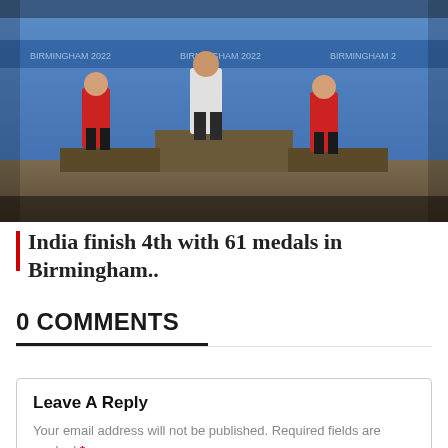[Figure (photo): Sports podium ceremony at Birmingham 2022 Commonwealth Games. Three athletes standing on a podium with a blue background showing Birmingham 2022 branding. The central figure in white/grey stands highest, flanked by two athletes in red on either side.]
India finish 4th with 61 medals in Birmingham..
0 COMMENTS
Leave A Reply
Your email address will not be published. Required fields are marked *